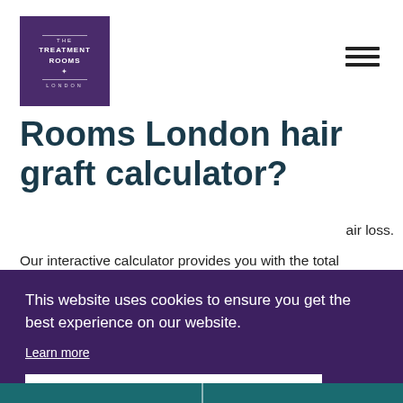[Figure (logo): The Treatment Rooms London logo — purple square with white text reading THE TREATMENT ROOMS LONDON with decorative dividers and star]
Rooms London hair graft calculator?
Our interactive calculator provides you with the total number of grafts and hairs you will need based upon your hair loss.
This website uses cookies to ensure you get the best experience on our website.
Learn more
Got it